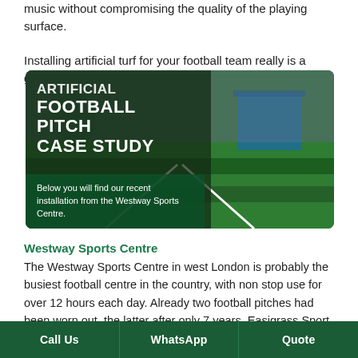music without compromising the quality of the playing surface. Installing artificial turf for your football team really is a game changer Chat to us today to find out more.
[Figure (photo): Photo of an artificial football pitch with white lines visible on green turf. Overlaid with dark-tinted panel on the left showing large white text 'ARTIFICIAL FOOTBALL PITCH CASE STUDY' and below a darker green band with text: 'Below you will find our recent installation from the Westway Sports Centre.']
Westway Sports Centre
The Westway Sports Centre in west London is probably the busiest football centre in the country, with non stop use for over 12 hours each day. Already two football pitches had been worn out, the latter after only 7 years. Easigrass Sport was commissioned to replace the old surface and rubber pad with
Call Us   WhatsApp   Quote